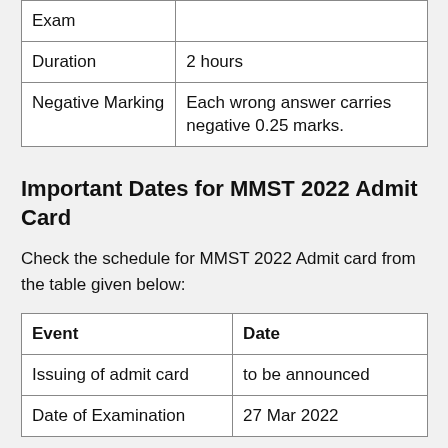|  |  |
| --- | --- |
| Exam |  |
| Duration | 2 hours |
| Negative Marking | Each wrong answer carries negative 0.25 marks. |
Important Dates for MMST 2022 Admit Card
Check the schedule for MMST 2022 Admit card from the table given below:
| Event | Date |
| --- | --- |
| Issuing of admit card | to be announced |
| Date of Examination | 27 Mar 2022 |